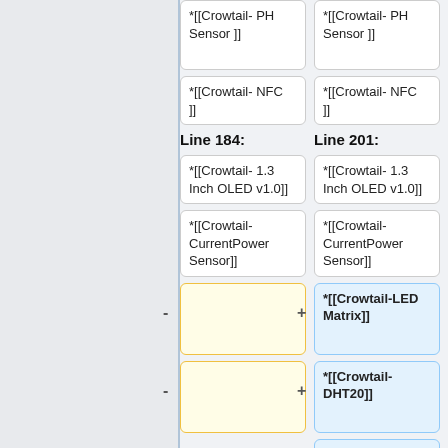*[[Crowtail- PH Sensor ]]
*[[Crowtail- PH Sensor ]]
*[[Crowtail- NFC ]]
*[[Crowtail- NFC ]]
Line 184:
Line 201:
*[[Crowtail- 1.3 Inch OLED v1.0]]
*[[Crowtail- 1.3 Inch OLED v1.0]]
*[[Crowtail- CurrentPower Sensor]]
*[[Crowtail- CurrentPower Sensor]]
*[[Crowtail-LED Matrix]]
*[[Crowtail- DHT20]]
*[[Crowtail- IMU 10DOF]]
*[[Crowtail-